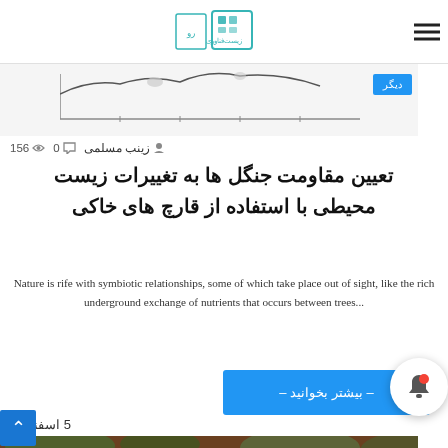زیست‌فناوری logo and hamburger menu
[Figure (other): Partial view of a scientific chart/graph at top of page with a blue tag labeled دیگر]
زینب مسلمی  0  156
تعیین مقاومت جنگل ها به تغییرات زیست محیطی با استفاده از قارچ های خاکی
Nature is rife with symbiotic relationships, some of which take place out of sight, like the rich underground exchange of nutrients that occurs between trees...
– بیشتر بخوانید –
5 اسفند
[Figure (photo): Close-up macro photograph of ants (reddish-brown) on white fungal or floral material with green leaves in background]